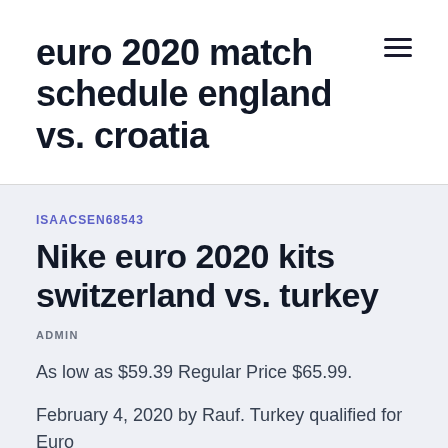euro 2020 match schedule england vs. croatia
ISAACSEN68543
Nike euro 2020 kits switzerland vs. turkey
ADMIN
As low as $59.39 Regular Price $65.99.
February 4, 2020 by Rauf. Turkey qualified for Euro